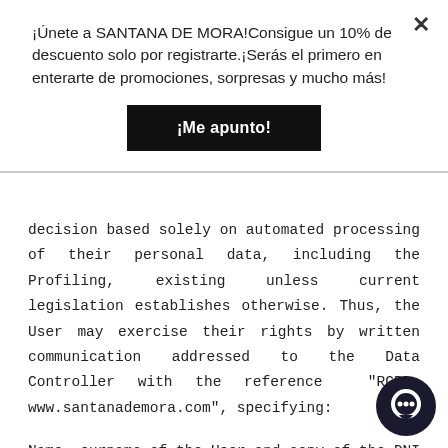¡Únete a SANTANA DE MORA!Consigue un 10% de descuento solo por registrarte.¡Serás el primero en enterarte de promociones, sorpresas y mucho más!
¡Me apunto!
decision based solely on automated processing of their personal data, including the Profiling, existing unless current legislation establishes otherwise. Thus, the User may exercise their rights by written communication addressed to the Data Controller with the reference "RGPD-www.santanademora.com", specifying:
Name, surname of the User and copy of the DNI cases in which representation is admitted identification by the same means of the person